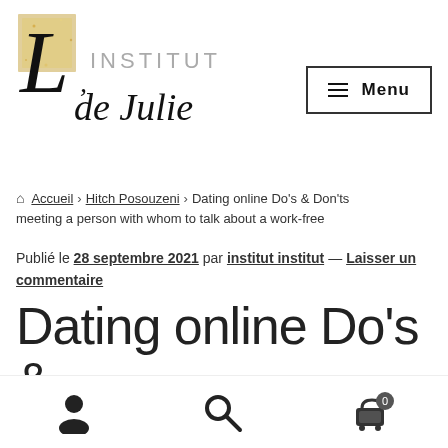[Figure (logo): L'Institut de Julie logo with decorative gold box and stylized cursive lettering]
[Figure (screenshot): Menu button with hamburger icon and 'Menu' text in a bordered box]
🏠 Accueil › Hitch Posouzeni › Dating online Do's & Don'ts meeting a person with whom to talk about a work-free
Publié le 28 septembre 2021 par institut institut — Laisser un commentaire
Dating online Do's &
[Figure (screenshot): Bottom navigation bar with user icon, search icon, and cart icon with badge showing 0]